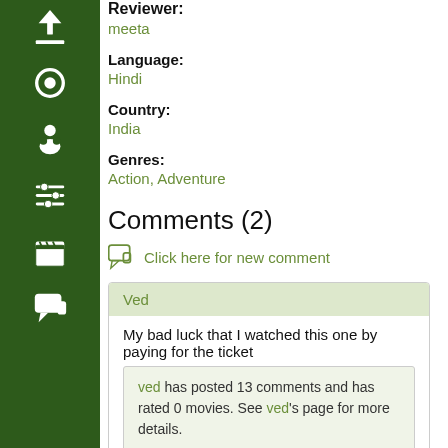[Figure (other): Dark green vertical sidebar with white icons: upload arrow, circle/record, person/profile, sliders/settings, clapperboard/movie, speech bubble/comments]
Reviewer:
meeta
Language:
Hindi
Country:
India
Genres:
Action, Adventure
Comments (2)
Click here for new comment
Ved
My bad luck that I watched this one by paying for the ticket
ved has posted 13 comments and has rated 0 movies. See ved's page for more details.